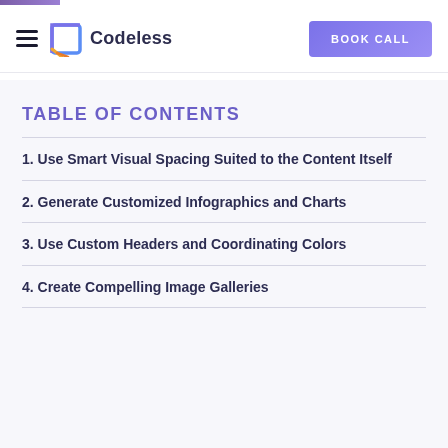Codeless | BOOK CALL
TABLE OF CONTENTS
1. Use Smart Visual Spacing Suited to the Content Itself
2. Generate Customized Infographics and Charts
3. Use Custom Headers and Coordinating Colors
4. Create Compelling Image Galleries